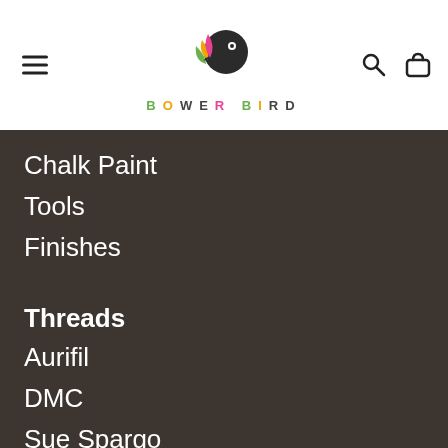[Figure (logo): Bower Bird logo: stylized bird icon with colorful feathers and the text BOWER BIRD in multicolor letters]
Chalk Paint
Tools
Finishes
Threads
Aurifil
DMC
Sue Spargo